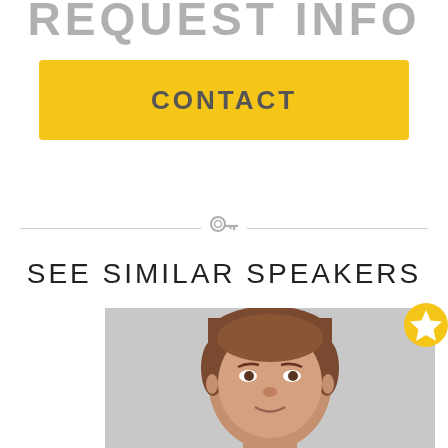REQUEST INFO
CONTACT
[Figure (other): Horizontal divider line with a key icon in the center]
SEE SIMILAR SPEAKERS
[Figure (photo): Headshot of a middle-aged man with short brown hair against a gray background, with a gold star badge in the upper right corner of the image]